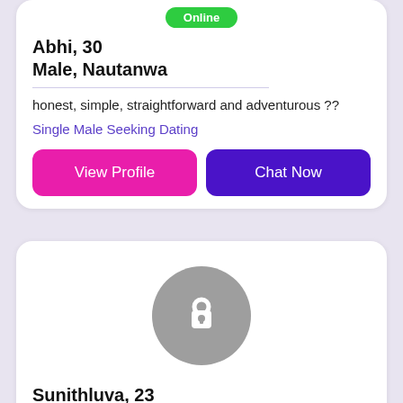Online
Abhi, 30
Male, Nautanwa
honest, simple, straightforward and adventurous ??
Single Male Seeking Dating
View Profile
Chat Now
[Figure (illustration): Locked profile avatar - grey circle with white padlock icon]
Sunithluva, 23
Female, Nautanwa